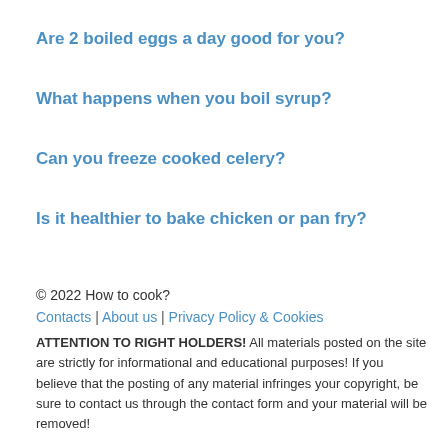Are 2 boiled eggs a day good for you?
What happens when you boil syrup?
Can you freeze cooked celery?
Is it healthier to bake chicken or pan fry?
© 2022 How to cook?
Contacts | About us | Privacy Policy & Cookies
ATTENTION TO RIGHT HOLDERS! All materials posted on the site are strictly for informational and educational purposes! If you believe that the posting of any material infringes your copyright, be sure to contact us through the contact form and your material will be removed!